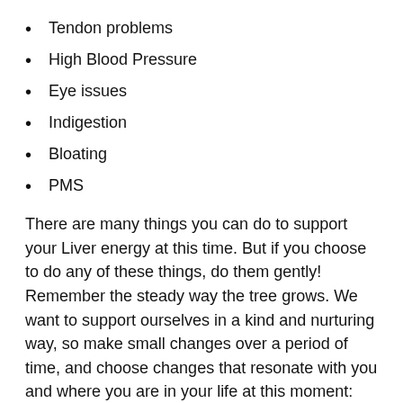Tendon problems
High Blood Pressure
Eye issues
Indigestion
Bloating
PMS
There are many things you can do to support your Liver energy at this time. But if you choose to do any of these things, do them gently! Remember the steady way the tree grows. We want to support ourselves in a kind and nurturing way, so make small changes over a period of time, and choose changes that resonate with you and where you are in your life at this moment:
Move. If you don’t already exercise then start doing something gentle now.
Tidy up your diet. Cut down on fried and fatty foods and replace them with healthy fats and oils, reduce